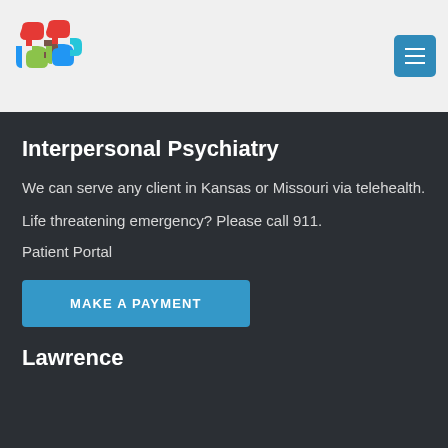[Figure (logo): Interpersonal Psychiatry colorful chain-link logo]
Interpersonal Psychiatry
We can serve any client in Kansas or Missouri via telehealth.
Life threatening emergency? Please call 911.
Patient Portal
MAKE A PAYMENT
Lawrence